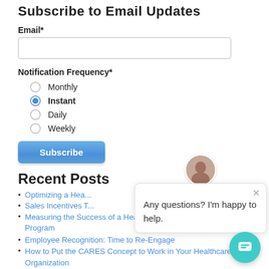Subscribe to Email Updates
Email*
Notification Frequency*
Monthly
Instant (selected)
Daily
Weekly
Subscribe
Recent Posts
Optimizing a Hea...
Sales Incentives T...
Measuring the Success of a Healthcare Employee Recognition Program
Employee Recognition: Time to Re-Engage
How to Put the CARES Concept to Work in Your Healthcare Organization
Sales Incentives and the New Normal
Any questions? I'm happy to help.